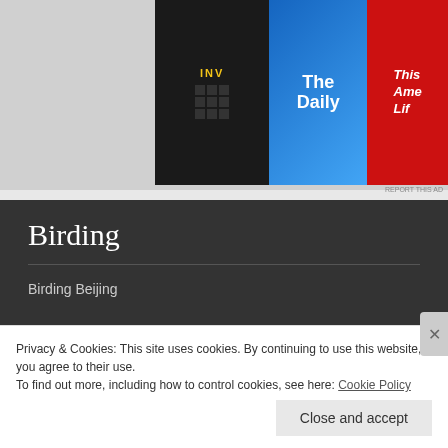[Figure (illustration): Partial view of podcast/media cards: a black card with 'INV' text, a blue card with 'The Daily', and a red card with 'This American Life' text]
Birding
Birding Beijing
Blogroll
8 Degrees of latitude
Privacy & Cookies: This site uses cookies. By continuing to use this website, you agree to their use.
To find out more, including how to control cookies, see here: Cookie Policy
Close and accept